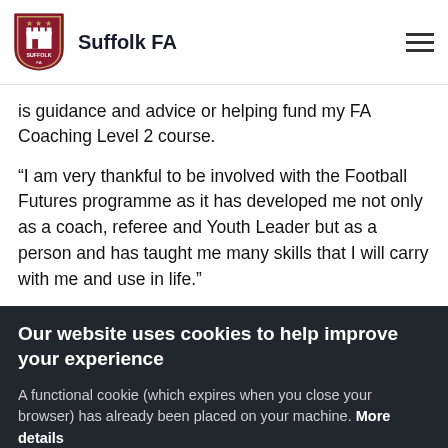Suffolk FA
is guidance and advice or helping fund my FA Coaching Level 2 course.
“I am very thankful to be involved with the Football Futures programme as it has developed me not only as a coach, referee and Youth Leader but as a person and has taught me many skills that I will carry with me and use in life.”
Our website uses cookies to help improve your experience
A functional cookie (which expires when you close your browser) has already been placed on your machine. More details
ACCEPT COOKIES